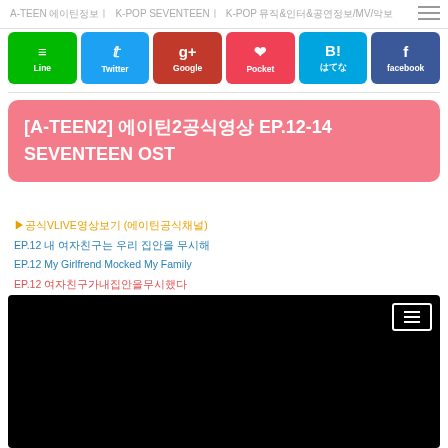A-TEEN 에이틴정보ㅣ K-POP SEVENTEENㅣ K-POP 뮤직&인터&공연정보/MV/악보
[Figure (infographic): Social share buttons: Line (green), Twitter (blue), Google+ (dark red), Pocket (pink/red), Hatena (blue), Facebook (dark blue)]
[A-TEEN2] 에이틴2공식영상 EP.12-14 SEVENTEEN OST
공식VLIVE영상보기 (에이틴공식채널)
EP.12 내 여자친구는 우리 집안을 무시해
EP.12 My Girlfrend Mocked My Family
EP.12 여자친구가내집안을무시했다
[Figure (screenshot): Black video thumbnail with a white rectangle/menu icon in the top right corner]